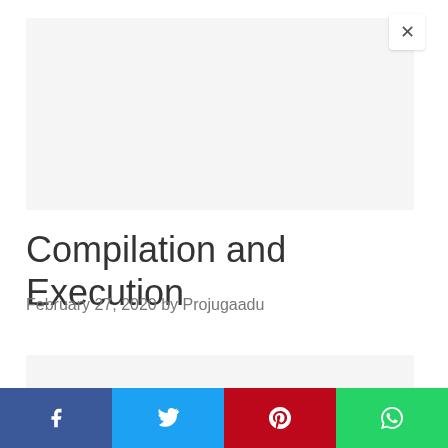[Figure (other): Gray advertisement banner placeholder with close (×) button in top-right corner]
Compilation and Execution
February 27, 2020 by Projugaadu
[Figure (other): Gray content placeholder box]
[Figure (other): Social sharing bar with four buttons: Facebook (blue), Twitter (light blue), Pinterest (red), WhatsApp (green)]